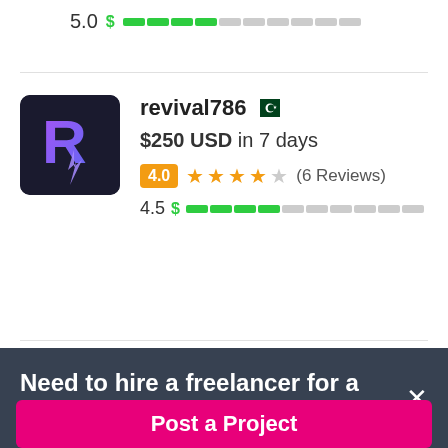5.0  [dollar bar: 4/10 filled]
[Figure (screenshot): Avatar logo for revival786: dark background with purple/pink stylized R letter and lightning bolt]
revival786
$250 USD in 7 days
4.0  ★★★★☆  (6 Reviews)
4.5  [dollar bar: 4/10 filled]
Need to hire a freelancer for a job?
Post a Project